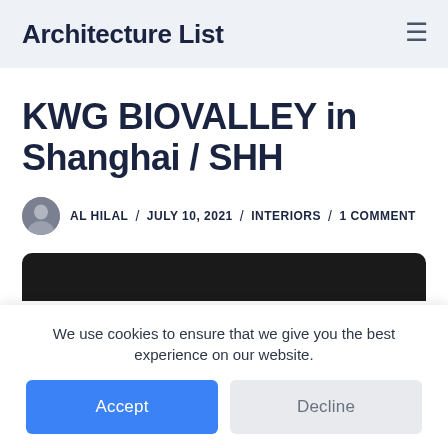Architecture List
KWG BIOVALLEY in Shanghai / SHH
AL HILAL / JULY 10, 2021 / INTERIORS / 1 COMMENT
[Figure (photo): Dark/black image bar at the bottom of the article header area]
We use cookies to ensure that we give you the best experience on our website.
Accept   Decline